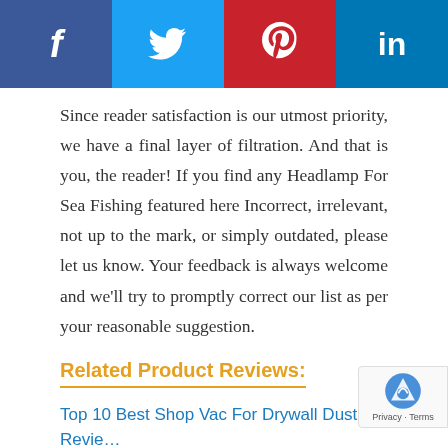[Figure (other): Social media share buttons: Facebook (dark blue), Twitter (light blue), Pinterest (red), LinkedIn (blue)]
Since reader satisfaction is our utmost priority, we have a final layer of filtration. And that is you, the reader! If you find any Headlamp For Sea Fishing featured here Incorrect, irrelevant, not up to the mark, or simply outdated, please let us know. Your feedback is always welcome and we'll try to promptly correct our list as per your reasonable suggestion.
Related Product Reviews:
Top 10 Best Shop Vac For Drywall Dust Reviews With Scores